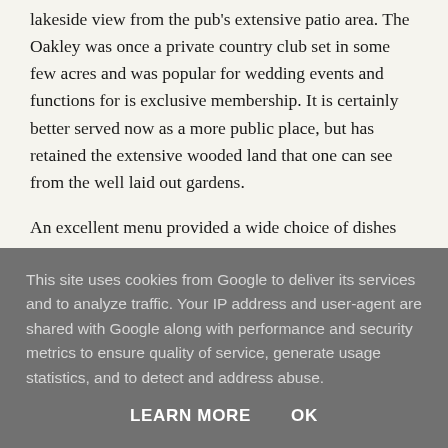lakeside view from the pub's extensive patio area. The Oakley was once a private country club set in some few acres and was popular for wedding events and functions for is exclusive membership. It is certainly better served now as a more public place, but has retained the extensive wooded land that one can see from the well laid out gardens.
An excellent menu provided a wide choice of dishes for our Sunday lunch, including beef, pork and lamb roast.
This site uses cookies from Google to deliver its services and to analyze traffic. Your IP address and user-agent are shared with Google along with performance and security metrics to ensure quality of service, generate usage statistics, and to detect and address abuse.
LEARN MORE   OK